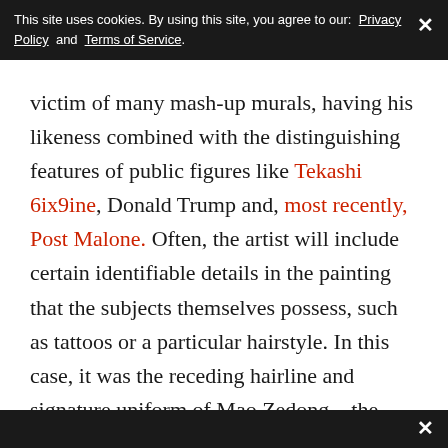This site uses cookies. By using this site, you agree to our: Privacy Policy and Terms of Service.
victim of many mash-up murals, having his likeness combined with the distinguishing features of public figures like Tekashi 6ix9ine, Donald Trump and, most recently, Post Malone. Often, the artist will include certain identifiable details in the painting that the subjects themselves possess, such as tattoos or a particular hairstyle. In this case, it was the receding hairline and signature uniform of Mao Zedong—the founding father of the People's Republic of China who ruled as chairman of its Communist party from 1949-1976—that were combined with